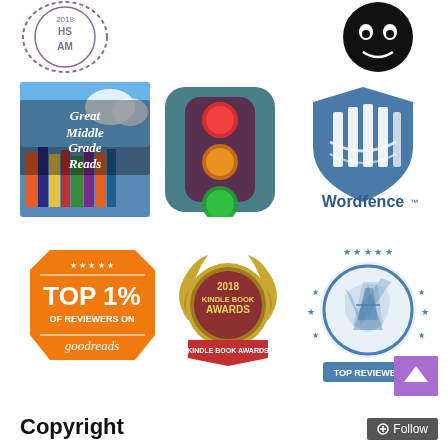[Figure (logo): Circular stamp logo with text '2018 HS AM' in purple outline]
[Figure (logo): Black circular face/icon logo]
[Figure (logo): Great Middle Grade Reads logo with stacked books photo and text]
[Figure (logo): Traffic light icon with red, yellow, green lights on teal rounded square]
[Figure (logo): Wordfence security logo with blue shield/fence icon and text 'Wordfence']
[Figure (logo): Goodreads Top 1% of Reviewers badge in orange]
[Figure (logo): 2018 Kindle Book Awards gold medallion badge]
[Figure (logo): Top Reviewer badge with blue circle, stars, and pen icon]
Copyright
[Figure (other): Purple scroll-to-top arrow button]
[Figure (other): Follow button in dark grey with plus icon]